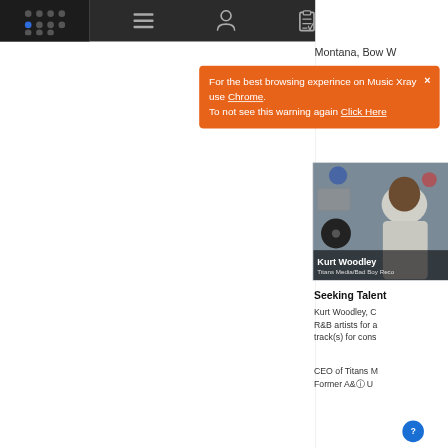[Figure (screenshot): Music Xray web application screenshot showing a dark navigation bar at the top with a logo (dot grid), hamburger menu, person icon, clipboard icon, and SoundCloud orange icon. An orange browser notification tooltip is displayed in the center-left area warning about browser compatibility. The right side shows a partial heading 'Montana, Bow W...', a profile image card of Kurt Woodley (Titans Media/Bad Boy Reco...), a 'Seeking Talent' section with truncated text about R&B artists, and a CEO bio beginning. A blue help circle icon appears bottom right.]